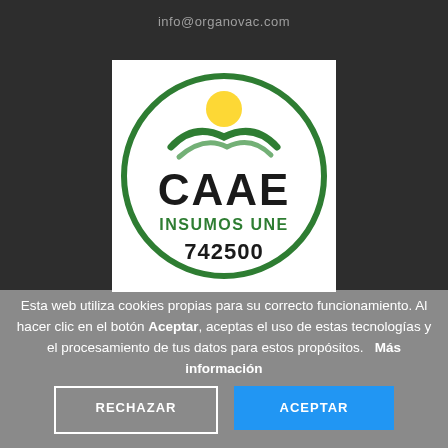info@organovac.com
[Figure (logo): CAAE INSUMOS UNE 742500 certification logo — circular green border with a yellow sun, green wave/leaf motifs, bold black text CAAE, green text INSUMOS UNE, and number 742500]
Esta web utiliza cookies propias para su correcto funcionamiento. Al hacer clic en el botón Aceptar, aceptas el uso de estas tecnologías y el procesamiento de tus datos para estos propósitos.   Más información
RECHAZAR
ACEPTAR